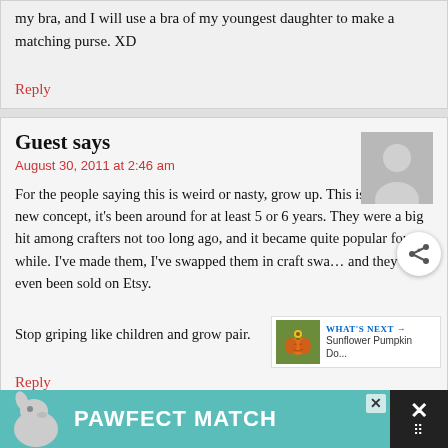my bra, and I will use a bra of my youngest daughter to make a matching purse. XD
Reply
Guest says
August 30, 2011 at 2:46 am
For the people saying this is weird or nasty, grow up. This isn't even a new concept, it's been around for at least 5 or 6 years. They were a big hit among crafters not too long ago, and it became quite popular for a while. I've made them, I've swapped them in craft swa... and they've even been sold on Etsy.
Stop griping like children and grow pair.
Reply
[Figure (other): PAWFECT MATCH advertisement banner with dog image at bottom of page]